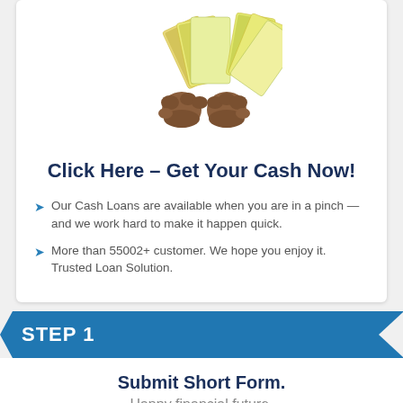[Figure (illustration): Two fists holding fans of dollar bills, representing cash loans]
Click Here – Get Your Cash Now!
Our Cash Loans are available when you are in a pinch — and we work hard to make it happen quick.
More than 55002+ customer. We hope you enjoy it. Trusted Loan Solution.
STEP 1
Submit Short Form.
Happy financial future.
[Figure (illustration): Confidential & Private badge with a padlock icon]